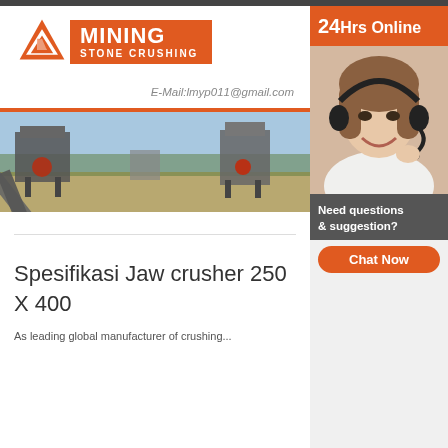[Figure (logo): Mining Stone Crushing company logo with orange triangle and orange text box]
E-Mail:lmyp011@gmail.com
[Figure (photo): Industrial mining stone crushing plant with conveyor belts and machinery against blue sky]
[Figure (photo): 24Hrs Online customer service agent with headset sidebar banner]
Need questions & suggestion?
Chat Now
Spesifikasi Jaw crusher 250 X 400
As leading global manufacturer of crushing...